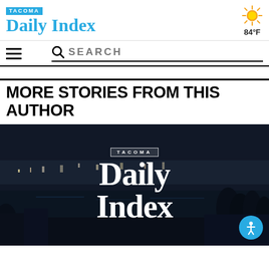TACOMA Daily Index — 84°F
MORE STORIES FROM THIS AUTHOR
[Figure (photo): Aerial nighttime photograph of Tacoma waterfront with the Tacoma Daily Index logo overlay and an accessibility button in the bottom right corner.]